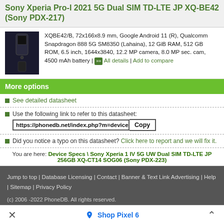Sony Xperia Pro-I 2021 5G Dual SIM TD-LTE JP XQ-BE42 (Sony PDX-217)
XQBE42/B, 72x166x8.9 mm, Google Android 11 (R), Qualcomm Snapdragon 888 5G SM8350 (Lahaina), 12 GiB RAM, 512 GB ROM, 6.5 inch, 1644x3840, 12.2 MP camera, 8.0 MP sec. cam, 4500 mAh battery | All details | Add to compare
More options
See detailed datasheet
Use the following link to refer to this datasheet:
https://phonedb.net/index.php?m=device&
Did you notice a typo on this datasheet? Click here to report and we will fix it.
You are here: Device Specs \ Sony Xperia 1 IV 5G UW Dual SIM TD-LTE JP 256GB XQ-CT14 SOG06 (Sony PDX-223)
Jump to top | Database Licensing | Contact | Banner & Text Link Advertising | Help | Sitemap | Privacy Policy
(c) 2006 -2022 PhoneDB. All rights reserved.